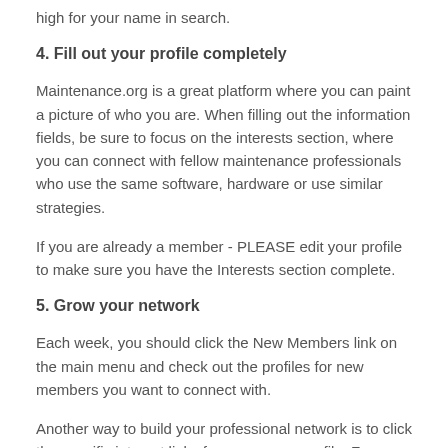high for your name in search.
4. Fill out your profile completely
Maintenance.org is a great platform where you can paint a picture of who you are. When filling out the information fields, be sure to focus on the interests section, where you can connect with fellow maintenance professionals who use the same software, hardware or use similar strategies.
If you are already a member - PLEASE edit your profile to make sure you have the Interests section complete.
5. Grow your network
Each week, you should click the New Members link on the main menu and check out the profiles for new members you want to connect with.
Another way to build your professional network is to click the specific interest links from your own profile. For example if you selected that you are a Maximo software user, clicking Maximo from your own profile will show you a list of other